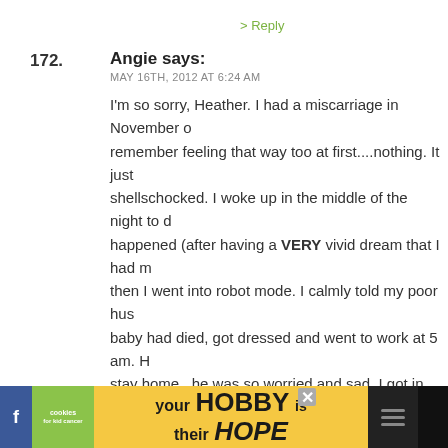> Reply
172.  Angie says:
MAY 16TH, 2012 AT 6:24 AM

I'm so sorry, Heather. I had a miscarriage in November o... remember feeling that way too at first....nothing. It just shellschocked. I woke up in the middle of the night to d... happened (after having a VERY vivid dream that I had m... then I went into robot mode. I calmly told my poor hus... baby had died, got dressed and went to work at 5 am. H... stay home...he was so worried and sad. I got in while it ... sat down at my desk and just started crying hyterically. for our ultrasound to confirm later that day, I was just n... Almost in self-protection mode. The emotions came po... next several months...and they still do sometimes, ever... have a healthy baby boy. I wish there was something I c... you feel better. Just know that me and lots of your read... empathize, and will be thinking of you and Mike as you
[Figure (infographic): Advertisement banner for 'cookies for kid cancer' with yellow heart cookie and text 'your HOBBY is their HOPE' on yellow background with dark border and close button]